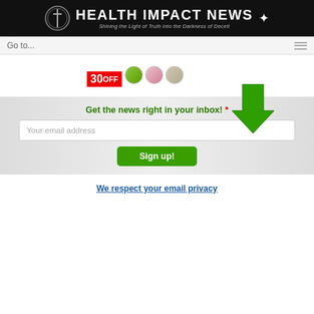HEALTH IMPACT NEWS — Shining the Light of Truth into the Darkness of Deceit
[Figure (screenshot): Navigation bar with 'Go to...' text and hamburger menu icon on right]
[Figure (infographic): Partial advertisement banner showing '30 OFF' in red and product circles]
[Figure (infographic): Large green downward arrow pointing toward email signup form]
Get the news right in your inbox! *
Your email address
Sign up!
We respect your email privacy